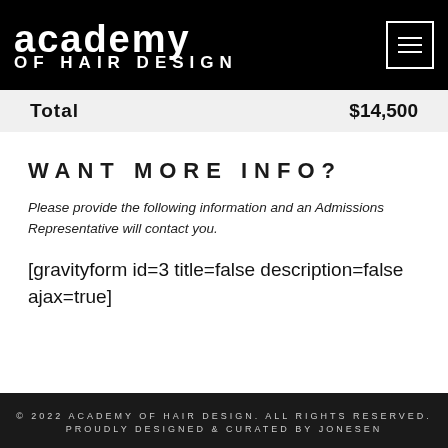academy OF HAIR DESIGN
| Total | $14,500 |
| --- | --- |
WANT MORE INFO?
Please provide the following information and an Admissions Representative will contact you.
[gravityform id=3 title=false description=false ajax=true]
© 2022 ACADEMY OF HAIR DESIGN. ALL RIGHTS RESERVED. PROUDLY DESIGNED & CURATED BY JONESEN